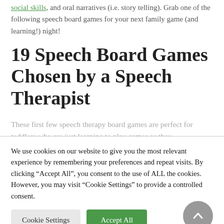social skills, and oral narratives (i.e. story telling). Grab one of the following speech board games for your next family game (and learning!) night!
19 Speech Board Games Chosen by a Speech Therapist
These first few speech therapy board games are perfect for toddlers who are just learning to play games as they
We use cookies on our website to give you the most relevant experience by remembering your preferences and repeat visits. By clicking “Accept All”, you consent to the use of ALL the cookies. However, you may visit “Cookie Settings” to provide a controlled consent.